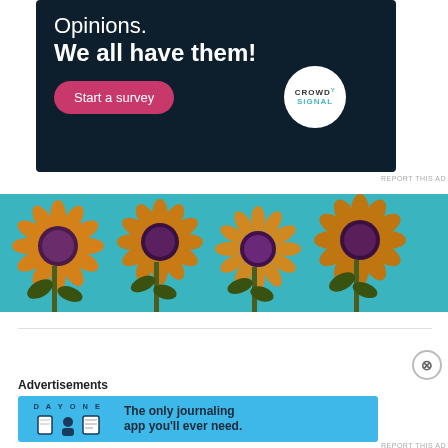[Figure (screenshot): CrowdSignal advertisement on dark navy background with text 'Opinions. We all have them!' and pink 'Start a survey' button, plus CrowdSignal logo circle]
REPORT THIS AD
[Figure (photo): Photograph of decorative sunflower artwork on teal/blue background, showing five large sunflowers with orange petals and dark purple centers]
[Figure (screenshot): Day One journaling app advertisement on light blue background with text 'The only journaling app you'll ever need.' and app icons]
Advertisements
REPORT THIS AD